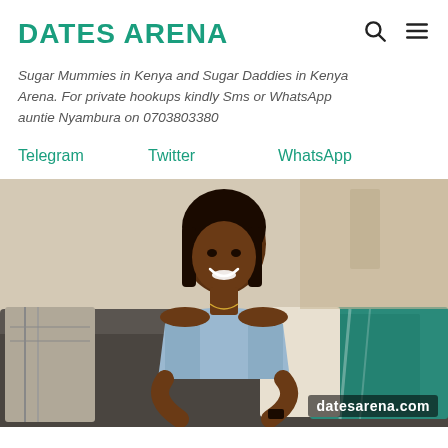DATES ARENA
Sugar Mummies in Kenya and Sugar Daddies in Kenya Arena. For private hookups kindly Sms or WhatsApp auntie Nyambura on 0703803380
Telegram
Twitter
WhatsApp
[Figure (photo): Woman smiling sitting on a dark sofa with pillows, wearing an off-shoulder light blue top. Text watermark 'datesarena.com' in bottom right corner.]